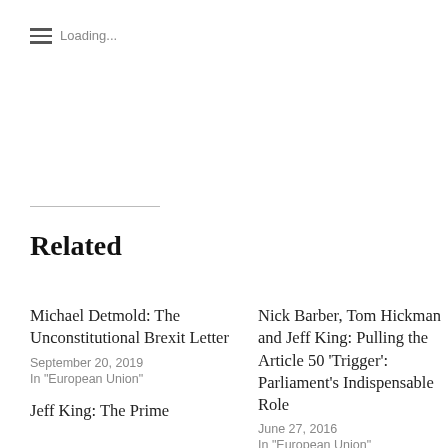≡ Loading...
Related
Michael Detmold: The Unconstitutional Brexit Letter
September 20, 2019
In "European Union"
Nick Barber, Tom Hickman and Jeff King: Pulling the Article 50 'Trigger': Parliament's Indispensable Role
June 27, 2016
In "European Union"
Jeff King: The Prime